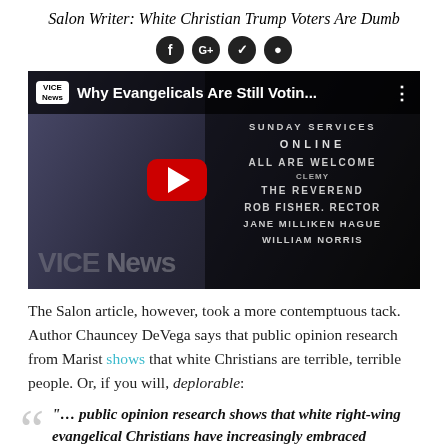Salon Writer: White Christian Trump Voters Are Dumb
[Figure (screenshot): YouTube video thumbnail from VICE News titled 'Why Evangelicals Are Still Votin...' showing a man in a suit holding up a book in front of a church sign.]
The Salon article, however, took a more contemptuous tack. Author Chauncey DeVega says that public opinion research from Marist shows that white Christians are terrible, terrible people. Or, if you will, deplorable:
“… public opinion research shows that white right-wing evangelical Christians have increasingly embraced authoritarian views